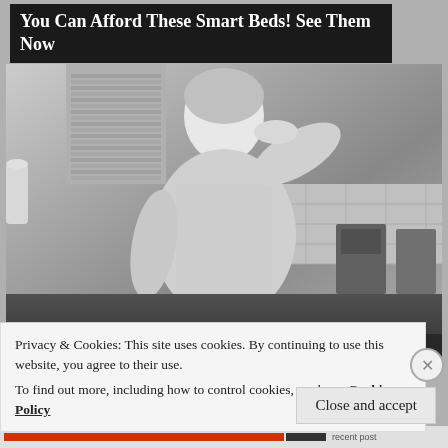[Figure (other): Advertisement banner with dark background reading: You Can Afford These Smart Beds! See Them Now]
You Can Afford These Smart Beds! See Them Now
[Figure (photo): Black and white vintage photograph of a 1950s housewife in an apron standing in a kitchen, hand raised to her forehead in a tired or exasperated pose, with kitchen appliances and shuttered window visible in the background.]
Privacy & Cookies: This site uses cookies. By continuing to use this website, you agree to their use.
To find out more, including how to control cookies, see here: Cookie Policy